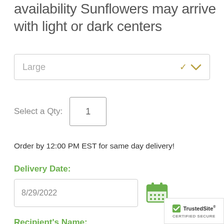availability Sunflowers may arrive with light or dark centers
[Figure (screenshot): Dropdown selector showing 'Large' with a gold/olive chevron arrow on the right]
Select a Qty:  1
Order by 12:00 PM EST for same day delivery!
Delivery Date:
8/29/2022
Recipient's Name:
Other (specify)
[Figure (logo): TrustedSite CERTIFIED SECURE badge with green checkmark]